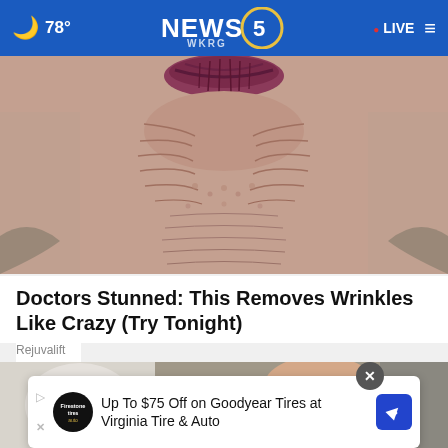🌙 78° NEWS 5 WKRG • LIVE
[Figure (photo): Extreme close-up of elderly person's mouth and wrinkled lower face area, showing very wrinkled skin around the lips.]
Doctors Stunned: This Removes Wrinkles Like Crazy (Try Tonight)
Rejuvalift
[Figure (photo): Close-up photo of someone's feet wearing white platform sandals, partially visible.]
Up To $75 Off on Goodyear Tires at Virginia Tire & Auto